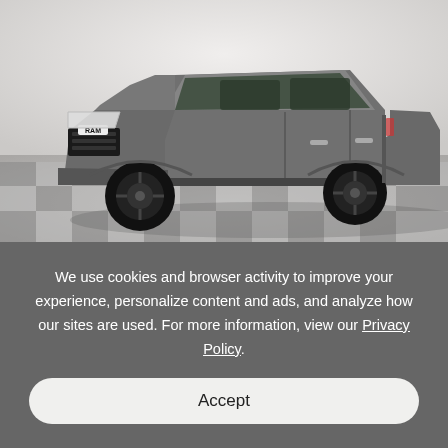[Figure (photo): Gray Ram pickup truck with black wheels on a checkered floor showroom, photographed from the front-left angle.]
We use cookies and browser activity to improve your experience, personalize content and ads, and analyze how our sites are used. For more information, view our Privacy Policy.
Accept